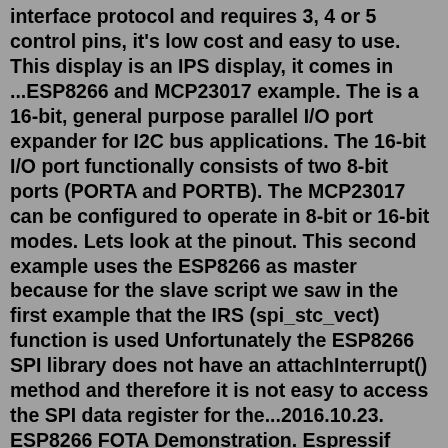interface protocol and requires 3, 4 or 5 control pins, it's low cost and easy to use. This display is an IPS display, it comes in ...ESP8266 and MCP23017 example. The is a 16-bit, general purpose parallel I/O port expander for I2C bus applications. The 16-bit I/O port functionally consists of two 8-bit ports (PORTA and PORTB). The MCP23017 can be configured to operate in 8-bit or 16-bit modes. Lets look at the pinout. This second example uses the ESP8266 as master because for the slave script we saw in the first example that the IRS (spi_stc_vect) function is used Unfortunately the ESP8266 SPI library does not have an attachInterrupt() method and therefore it is not easy to access the SPI data register for the...2016.10.23. ESP8266 FOTA Demonstration. Espressif provides guidelines and a sample implementation of FOTA (Firmware Over-The-Air) function to upgrade the firmware on devices powered by the ESP8266. ESP8266 device will download a new version of firmware from the update server over Wi-Fi and run it. 150+ ESP8266